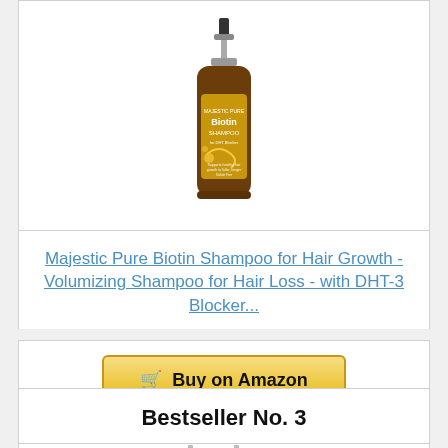[Figure (photo): Majestic Pure Biotin Shampoo product bottle with pump dispenser, dark amber/brown bottle with gold label]
Majestic Pure Biotin Shampoo for Hair Growth - Volumizing Shampoo for Hair Loss - with DHT-3 Blocker...
Buy on Amazon
Bestseller No. 3
[Figure (photo): Partially visible product bottles at bottom of page]